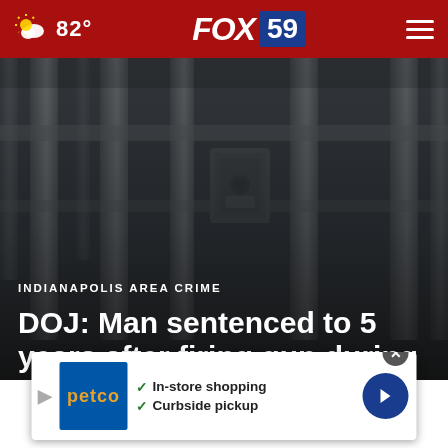FOX 59 | 82°
[Figure (photo): Dark moody photo of prison cell bars, close-up view of metal bars with a lock mechanism visible in the center]
INDIANAPOLIS AREA CRIME
DOJ: Man sentenced to 5 years after firing gun during 2020 riots
[Figure (other): Advertisement banner for Petco showing In-store shopping and Curbside pickup options]